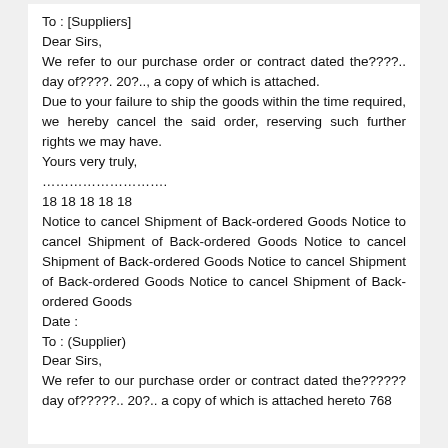To : [Suppliers]
Dear Sirs,
We refer to our purchase order or contract dated the????.. day of????. 20?.., a copy of which is attached.
Due to your failure to ship the goods within the time required, we hereby cancel the said order, reserving such further rights we may have.
Yours very truly,
……………………….
18 18 18 18 18
Notice to cancel Shipment of Back-ordered Goods Notice to cancel Shipment of Back-ordered Goods Notice to cancel Shipment of Back-ordered Goods Notice to cancel Shipment of Back-ordered Goods Notice to cancel Shipment of Back-ordered Goods
Date :
To : (Supplier)
Dear Sirs,
We refer to our purchase order or contract dated the?????? day of?????.. 20?.. a copy of which is attached hereto 768